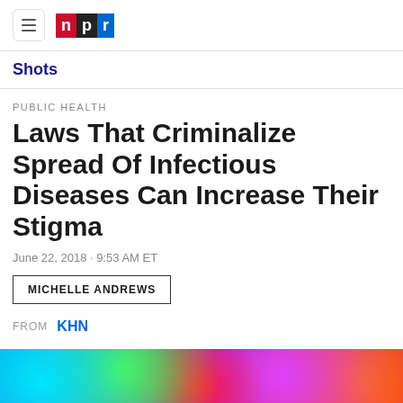NPR
Shots
PUBLIC HEALTH
Laws That Criminalize Spread Of Infectious Diseases Can Increase Their Stigma
June 22, 2018 · 9:53 AM ET
MICHELLE ANDREWS
FROM KHN
[Figure (photo): Colorful microscopic or scientific image in blue, green, pink and orange tones at the bottom of the page]